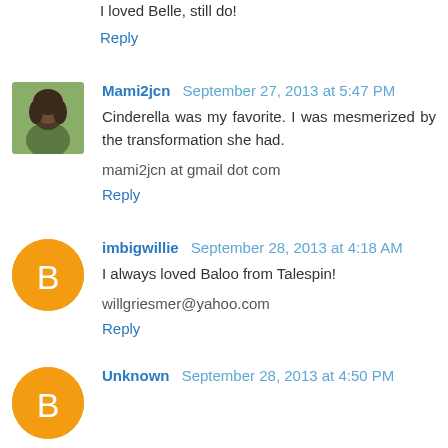I loved Belle, still do!
Reply
Mami2jcn  September 27, 2013 at 5:47 PM
Cinderella was my favorite. I was mesmerized by the transformation she had.
mami2jcn at gmail dot com
Reply
imbigwillie  September 28, 2013 at 4:18 AM
I always loved Baloo from Talespin!
willgriesmer@yahoo.com
Reply
Unknown  September 28, 2013 at 4:50 PM